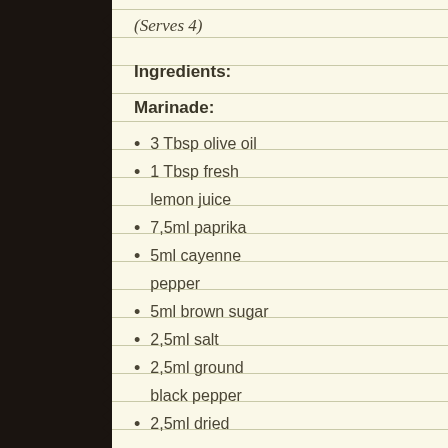(Serves 4)
Ingredients:
Marinade:
3 Tbsp olive oil
1 Tbsp fresh lemon juice
7,5ml paprika
5ml cayenne pepper
5ml brown sugar
2,5ml salt
2,5ml ground black pepper
2,5ml dried